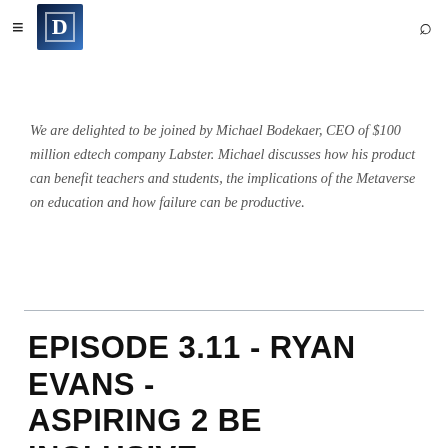≡ D [logo]  🔍
We are delighted to be joined by Michael Bodekaer, CEO of $100 million edtech company Labster. Michael discusses how his product can benefit teachers and students, the implications of the Metaverse on education and how failure can be productive.
EPISODE 3.11 - RYAN EVANS - ASPIRING 2 BE INCLUSIVE